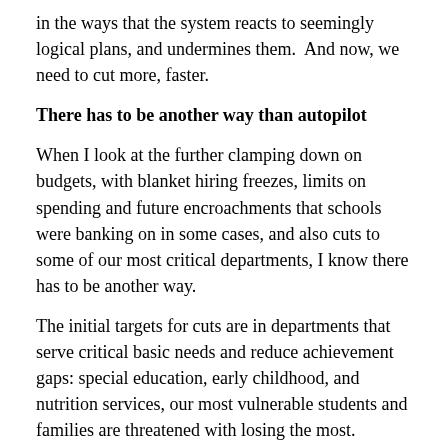in the ways that the system reacts to seemingly logical plans, and undermines them.  And now, we need to cut more, faster.
There has to be another way than autopilot
When I look at the further clamping down on budgets, with blanket hiring freezes, limits on spending and future encroachments that schools were banking on in some cases, and also cuts to some of our most critical departments, I know there has to be another way.
The initial targets for cuts are in departments that serve critical basic needs and reduce achievement gaps: special education, early childhood, and nutrition services, our most vulnerable students and families are threatened with losing the most.